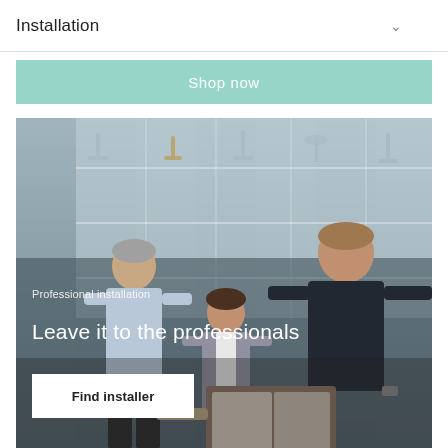Installation
Shop now
[Figure (photo): Photo of three people in a bathroom showroom with taps and showerheads on display shelves in the background. Two men and one woman are looking at a book/brochure together. Text overlay reads 'Professional installation' and 'Leave it to the professionals' with a 'Find installer' button.]
Professional installation
Leave it to the professionals
Find installer